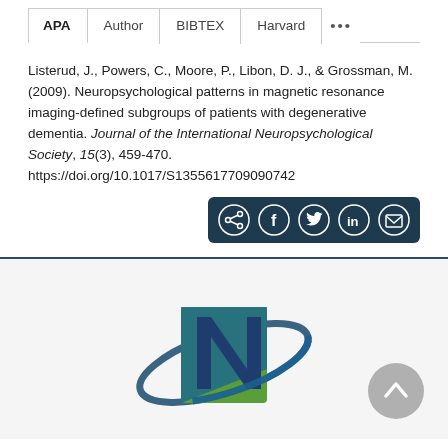APA | Author | BIBTEX | Harvard | ...
Listerud, J., Powers, C., Moore, P., Libon, D. J., & Grossman, M. (2009). Neuropsychological patterns in magnetic resonance imaging-defined subgroups of patients with degenerative dementia. Journal of the International Neuropsychological Society, 15(3), 459-470. https://doi.org/10.1017/S1355617709090742
[Figure (infographic): Share bar with share, Facebook, Twitter, LinkedIn, and email icons on dark teal background]
[Figure (logo): Journal/organization logo with stylized N letter in teal and green with orbital ring design]
[Figure (other): Scroll-to-top circular button in grey on the right side]